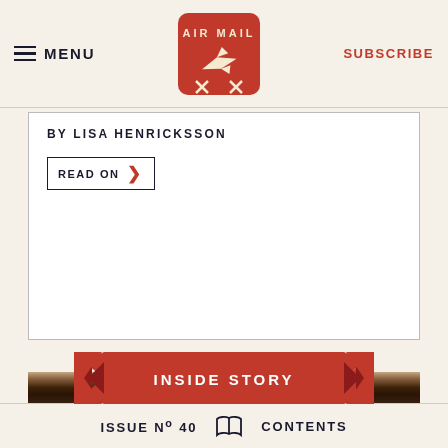MENU | AIR MAIL | SUBSCRIBE
BY LISA HENRICKSSON
READ ON
[Figure (illustration): Red ribbon banner with white text reading INSIDE STORY, pointing left and right ends cut in V-shapes]
[Figure (photo): Sepia-toned close-up photograph of a person with long dark hair, head bowed, showing the top and back of the head with dark wavy hair against a light background]
ISSUE No 40   [book icon]   CONTENTS